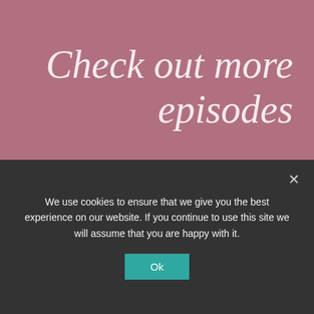Check out more episodes
[Figure (logo): Teal podcast banner for 'Your Permission Prescription with Nancy Lewis' featuring a microphone icon, bordered text logo, and partial photo of a smiling woman with curly hair]
We use cookies to ensure that we give you the best experience on our website. If you continue to use this site we will assume that you are happy with it.
Ok